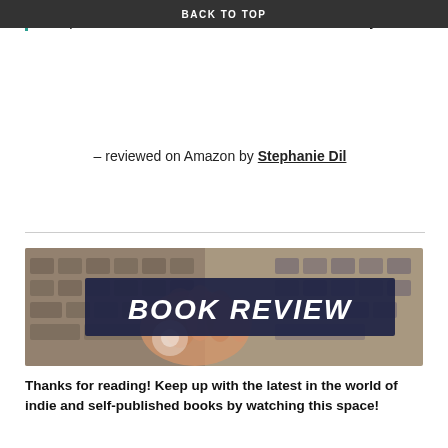BACK TO TOP
to experience music at its finest! You won't be sorry!
– reviewed on Amazon by Stephanie Dil
[Figure (illustration): Book Review banner image showing hands typing on a keyboard with a dark navy overlay banner reading 'BOOK REVIEW' in white brush-style lettering]
Thanks for reading!  Keep up with the latest in the world of indie and self-published books by watching this space!